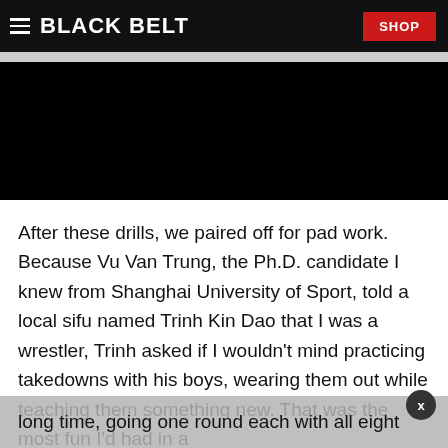BLACK BELT | SHOP
After these drills, we paired off for pad work. Because Vu Van Trung, the Ph.D. candidate I knew from Shanghai University of Sport, told a local sifu named Trinh Kin Dao that I was a wrestler, Trinh asked if I wouldn't mind practicing takedowns with his boys, wearing them out while teaching them something new. That was the most fun I'd had in a long time, going one round each with all eight